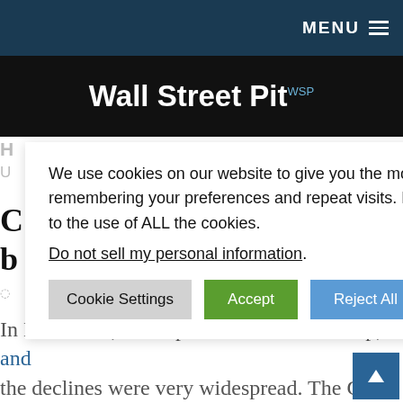Wall Street Pit WSP
We use cookies on our website to give you the most relevant experience by remembering your preferences and repeat visits. By clicking “Accept”, you consent to the use of ALL the cookies.
Do not sell my personal information.
Cookie Settings | Accept | Reject All
In December, home prices continued to slip, and the declines were very widespread. The Case-